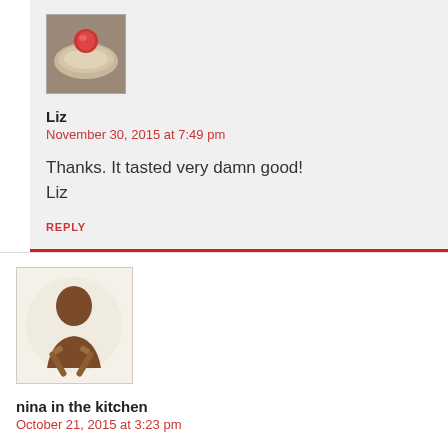[Figure (photo): Small avatar photo of a food dish (dessert with red garnish)]
Liz
November 30, 2015 at 7:49 pm
Thanks. It tasted very damn good!
Liz
REPLY
[Figure (logo): Avatar icon of nina in the kitchen — silhouette of a woman with crossed spatulas on beige background]
nina in the kitchen
October 21, 2015 at 3:23 pm
My Aunt Olga made a poppy seed coffee cake which I